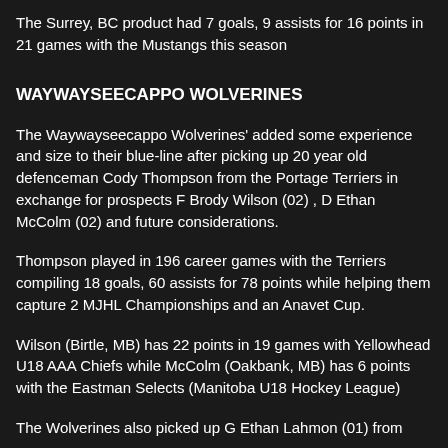The Surrey, BC product had 7 goals, 9 assists for 16 points in 21 games with the Mustangs this season
WAYWAYSEECAPPO WOLVERINES
The Waywayseecappo Wolverines' added some experience and size to their blue-line after picking up 20 year old defenceman Cody Thompson from the Portage Terriers in exchange for prospects F Brody Wilson (02) , D Ethan McColm (02) and future considerations.
Thompson played in 196 career games with the Terriers compiling 18 goals, 60 assists for 78 points while helping them capture 2 MJHL Championships and an Anavet Cup.
Wilson (Birtle, MB) has 22 points in 19 games with Yellowhead U18 AAA Chiefs while McColm (Oakbank, MB) has 6 points with the Eastman Selects (Manitoba U18 Hockey League)
The Wolverines also picked up G Ethan Lahmon (01) from